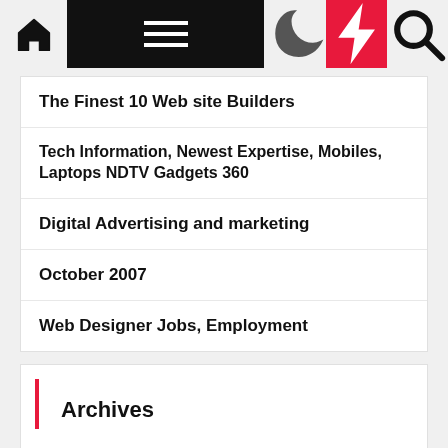Navigation bar with home, menu, moon, bolt, and search icons
The Finest 10 Web site Builders
Tech Information, Newest Expertise, Mobiles, Laptops NDTV Gadgets 360
Digital Advertising and marketing
October 2007
Web Designer Jobs, Employment
Archives
August 2022
July 2022